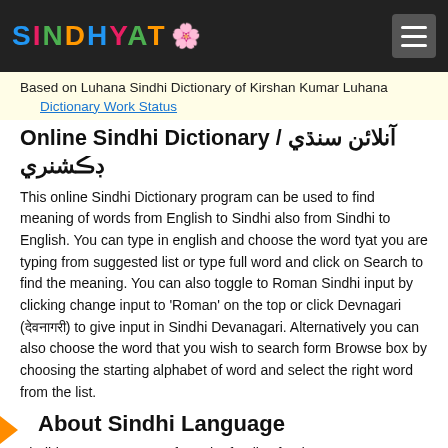SINDHYAT🌸
Based on Luhana Sindhi Dictionary of Kirshan Kumar Luhana
Dictionary Work Status
Online Sindhi Dictionary / آنلائن سنڌي ڊڪشنري
This online Sindhi Dictionary program can be used to find meaning of words from English to Sindhi also from Sindhi to English. You can type in english and choose the word tyat you are typing from suggested list or type full word and click on Search to find the meaning. You can also toggle to Roman Sindhi input by clicking change input to 'Roman' on the top or click Devnagari (देवनागरी) to give input in Sindhi Devanagari. Alternatively you can also choose the word that you wish to search form Browse box by choosing the starting alphabet of word and select the right word from the list.
About Sindhi Language
Sindhi Language comes from the family of Indo-Aryan Languages. Sindhi language is used by natives of Sindh Province. Though Sindh is today state of Pakistan, but Sindhis are spread across the world and still use Sindhi to speak, read & write. Sindhi is today official language of Pakistan and India. During indpendence and partition of India (1947)